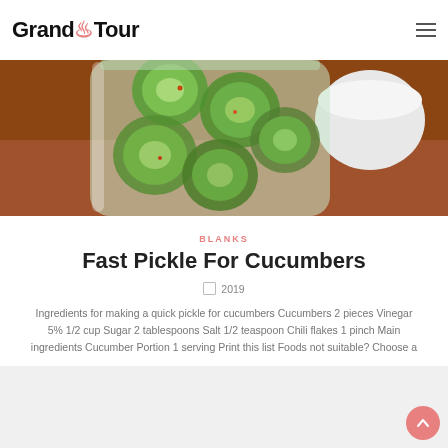Grand Tour
[Figure (photo): A glass jar filled with sliced pickled cucumbers and chili flakes, with a white bowl in the background on a wooden surface.]
BLANKS
Fast Pickle For Cucumbers
2019
Ingredients for making a quick pickle for cucumbers Cucumbers 2 pieces Vinegar 5% 1/2 cup Sugar 2 tablespoons Salt 1/2 teaspoon Chili flakes 1 pinch Main ingredients Cucumber Portion 1 serving Print this list Foods not suitable? Choose a